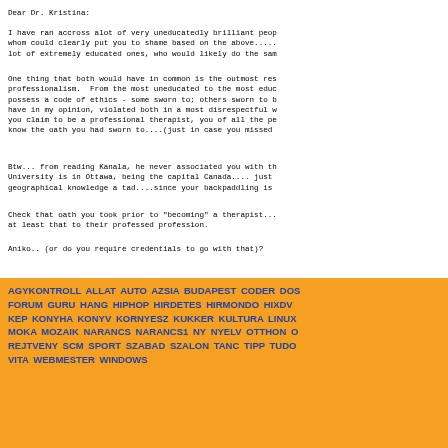Dear Dr. Kristina:
I have ran accross alot of very uneducatedly brilliant peop whom could clearly put you to shame based on the above..... lot of extremely educated ones, who would likely do the sam
One thing that both would have in common is the outmost res professionalism.  From the most uneducated to the most educ possess a code of ethics - some sworn to; others sworn to b have in my opinion, violated both in a most disrespectful w you claim to be a professional therapist, you of all the pe know the oath you had sworn to....(just in case you missed
Btw... from reading Kanala, he never associated you with th University is in Ottawa, being the capital Canada.... just geographical knowledge a tad....since your backpaddling is
Check that oath you took prior to "becoming" a therapist... at least that to their professed profession.
Aniko.. (or do you require credentials to go with that)?
AGYKONTROLL ALLAT AUTO AZSIA BUDAPEST CODER DOS FORUM GURU HANG HIPHOP HIRDETES HIRMONDO HIXDV KEP KONYHA KONYV KORNYESZ KUKKER KULTURA LINUX MOKA MOZAIK NARANCS NARANCS1 NY NYELV OTTHON O REJTVENY SCM SPORT SZABAD SZALON TANC TIPP TUDO VITA WEBMESTER WINDOWS